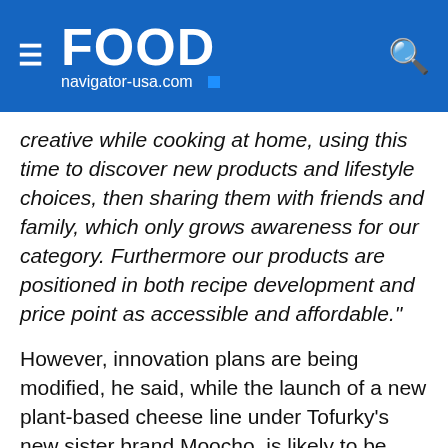FOOD navigator-usa.com
creative while cooking at home, using this time to discover new products and lifestyle choices, then sharing them with friends and family, which only grows awareness for our category. Furthermore our products are positioned in both recipe development and price point as accessible and affordable."
However, innovation plans are being modified, he said, while the launch of a new plant-based cheese line under Tofurky's new sister brand Moocho, is likely to be delayed as onboarding new brands/products moves down retailer priority lists.
This website uses cookies. By continuing to browse our website, you are agreeing to our use of cookies. You can learn more about cookies by visiting our privacy & cookies policy page.
I Agree